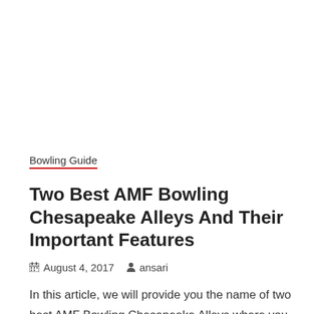Bowling Guide
Two Best AMF Bowling Chesapeake Alleys And Their Important Features
August 4, 2017   ansari
In this article, we will provide you the name of two best AMF Bowling Chesapeake Alleys where you can have fun with your family and friends. These alleys are considered one of the biggest and the best bowling alleys.